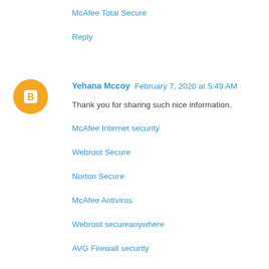McAfee Total Secure
Reply
Yehana Mccoy  February 7, 2020 at 5:49 AM
Thank you for sharing such nice information.
McAfee Internet security
Webroot Secure
Norton Secure
McAfee Antivirus
Webroot secureanywhere
AVG Firewall security
McAfee Total Security
Reply